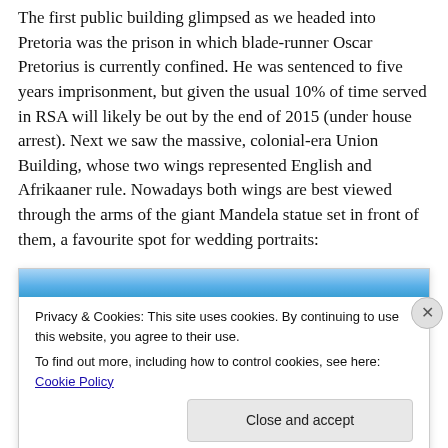The first public building glimpsed as we headed into Pretoria was the prison in which blade-runner Oscar Pretorius is currently confined. He was sentenced to five years imprisonment, but given the usual 10% of time served in RSA will likely be out by the end of 2015 (under house arrest). Next we saw the massive, colonial-era Union Building, whose two wings represented English and Afrikaaner rule. Nowadays both wings are best viewed through the arms of the giant Mandela statue set in front of them, a favourite spot for wedding portraits:
[Figure (screenshot): Cookie consent banner with blue gradient header bar, privacy and cookies text, a close button (X) on the right, and a 'Close and accept' button at the bottom right.]